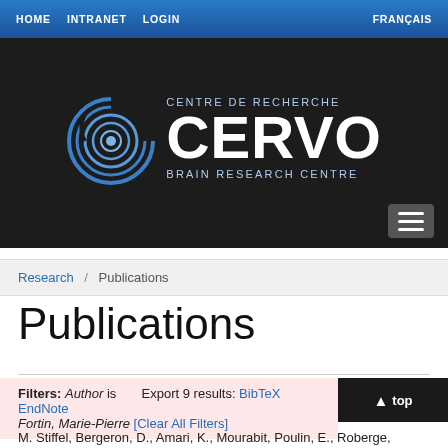HOME  INTRANET  LOGIN  FRANÇAIS
[Figure (logo): CERVO Brain Research Centre logo with circular maze icon and text 'CENTRE DE RECHERCHE CERVO BRAIN RESEARCH CENTRE' on dark background]
Research / Publications
Publications
Filters: Author is Fortin, Marie-Pierre  Export 9 results:  BibTeX  EndNote  [Clear All Filters]
M. Stiffel, Bergeron, D., Amari, K., Mourabit, Poulin, E., Roberge,